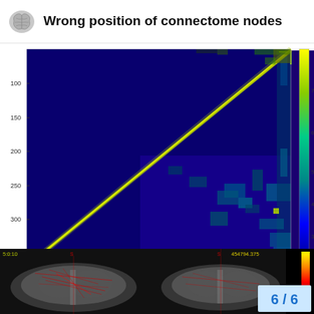Wrong position of connectome nodes
[Figure (other): Connectome matrix heatmap showing a triangular pattern. The upper-left triangle is predominantly dark blue (low values), while the lower-right area and diagonal show yellow-green patterns indicating higher connectivity values. X-axis labeled 50, 100, 150, 200, 250, 300, 350. Y-axis labeled 100, 150, 200, 250, 300, 350. Color bar on right ranges from ~100 to 700.]
[Figure (other): Brain imaging viewer showing two coronal brain MRI slices side by side on black background, with red lines indicating connectome node positions overlaid. Top-left shows coordinates 5:0:10 in yellow-green. Top-right shows value 454794.375 in yellow. A heat colorbar is shown on far right ranging from yellow (top) to red to black (bottom/zero). Bottom right corner shows page counter 6/6 in blue on light blue background.]